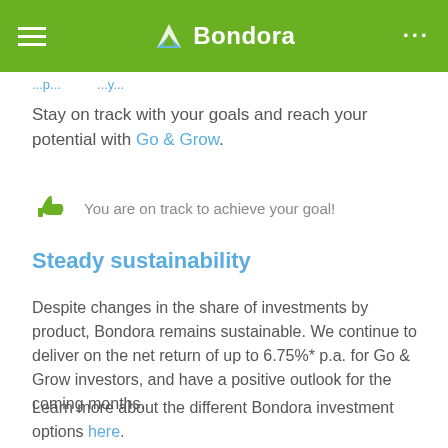Bondora
Stay on track with your goals and reach your potential with Go & Grow.
[Figure (illustration): Green thumbs up icon with text: You are on track to achieve your goal!]
Steady sustainability
Despite changes in the share of investments by product, Bondora remains sustainable. We continue to deliver on the net return of up to 6.75%* p.a. for Go & Grow investors, and have a positive outlook for the coming months.
Learn more about the different Bondora investment options here.